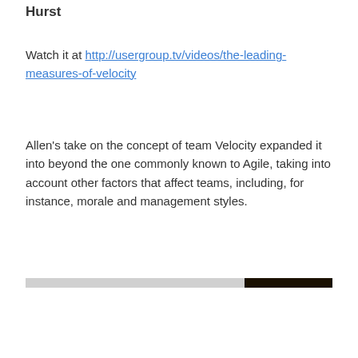Hurst
Watch it at http://usergroup.tv/videos/the-leading-measures-of-velocity
Allen's take on the concept of team Velocity expanded it into beyond the one commonly known to Agile, taking into account other factors that affect teams, including, for instance, morale and management styles.
[Figure (other): A horizontal progress bar, mostly light gray with a dark black segment on the right end.]